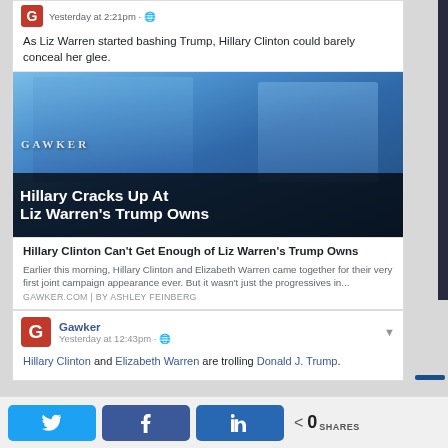Yesterday at 2:21pm · 🌐
As Liz Warren started bashing Trump, Hillary Clinton could barely conceal her glee.
[Figure (photo): Photo of Elizabeth Warren and Hillary Clinton at a campaign rally with crowd in background, with Gawker article overlay showing headline 'Hillary Cracks Up At Liz Warren's Trump Owns']
Hillary Clinton Can't Get Enough of Liz Warren's Trump Owns
Earlier this morning, Hillary Clinton and Elizabeth Warren came together for their very first joint campaign appearance ever. But it wasn't just the progressives in...
GAWKER.COM | BY ASHLEY FEINBERG
Gawker
Yesterday at 12:43pm · 🌐
Hillary Clinton and Elizabeth Warren are trolling Donald J. Trump.